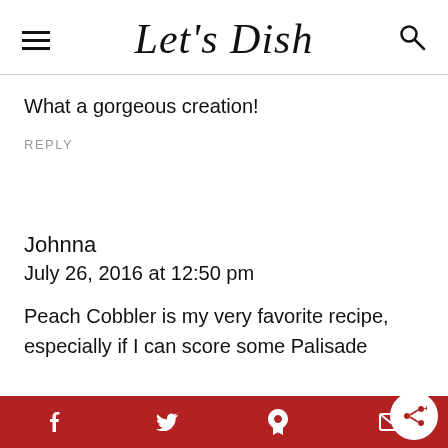Let's Dish
What a gorgeous creation!
REPLY
Johnna
July 26, 2016 at 12:50 pm
Peach Cobbler is my very favorite recipe, especially if I can score some Palisade
Social share bar with facebook, twitter, pinterest, email icons